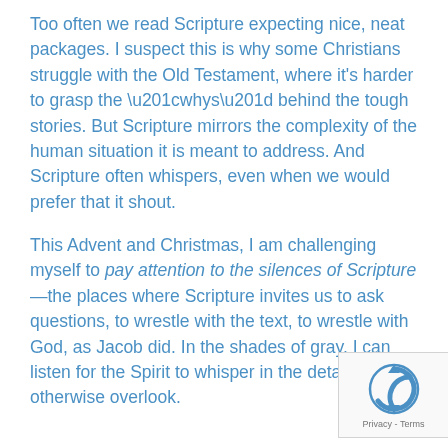Too often we read Scripture expecting nice, neat packages. I suspect this is why some Christians struggle with the Old Testament, where it's harder to grasp the “whys” behind the tough stories. But Scripture mirrors the complexity of the human situation it is meant to address. And Scripture often whispers, even when we would prefer that it shout.
This Advent and Christmas, I am challenging myself to pay attention to the silences of Scripture—the places where Scripture invites us to ask questions, to wrestle with the text, to wrestle with God, as Jacob did. In the shades of gray, I can listen for the Spirit to whisper in the details I might otherwise overlook.